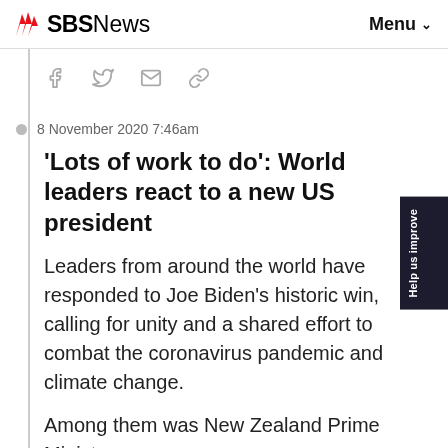SBS News   Menu
[Figure (screenshot): Social sharing icons: Facebook, Twitter, Email, Link]
8 November 2020 7:46am
'Lots of work to do': World leaders react to a new US president
Leaders from around the world have responded to Joe Biden's historic win, calling for unity and a shared effort to combat the coronavirus pandemic and climate change.
Among them was New Zealand Prime Minister